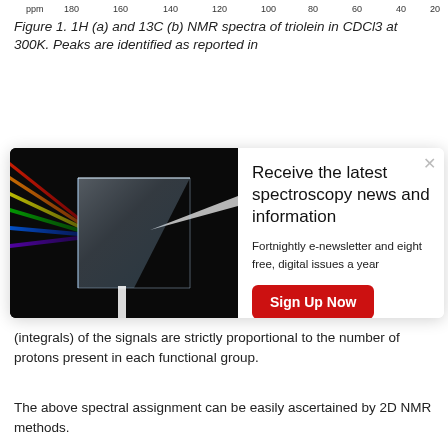[Figure (other): NMR spectrum axis strip showing ppm scale from 180 to 20]
Figure 1. 1H (a) and 13C (b) NMR spectra of triolein in CDCl3 at 300K. Peaks are identified as reported in [reference]
[Figure (photo): Glass prism dispersing white light into rainbow spectrum, advertisement overlay for spectroscopy newsletter]
Receive the latest spectroscopy news and information
Fortnightly e-newsletter and eight free, digital issues a year
Sign Up Now
(integrals) of the signals are strictly proportional to the number of protons present in each functional group.
The above spectral assignment can be easily ascertained by 2D NMR methods.